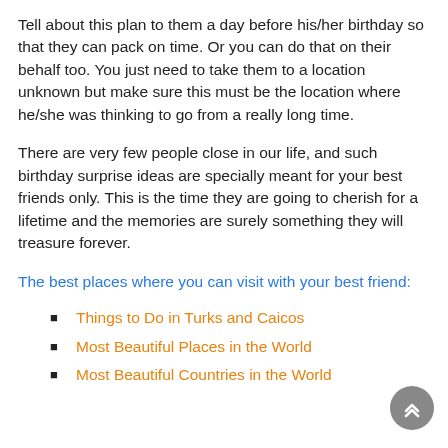Tell about this plan to them a day before his/her birthday so that they can pack on time. Or you can do that on their behalf too. You just need to take them to a location unknown but make sure this must be the location where he/she was thinking to go from a really long time.
There are very few people close in our life, and such birthday surprise ideas are specially meant for your best friends only. This is the time they are going to cherish for a lifetime and the memories are surely something they will treasure forever.
The best places where you can visit with your best friend:
Things to Do in Turks and Caicos
Most Beautiful Places in the World
Most Beautiful Countries in the World